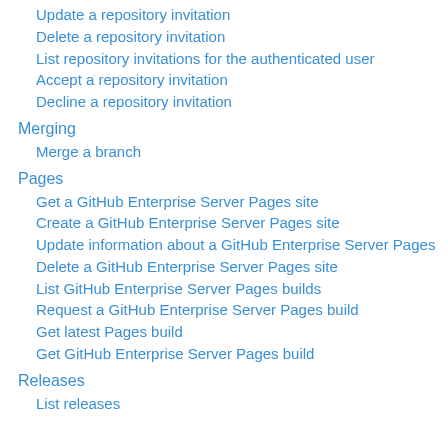Update a repository invitation
Delete a repository invitation
List repository invitations for the authenticated user
Accept a repository invitation
Decline a repository invitation
Merging
Merge a branch
Pages
Get a GitHub Enterprise Server Pages site
Create a GitHub Enterprise Server Pages site
Update information about a GitHub Enterprise Server Pages
Delete a GitHub Enterprise Server Pages site
List GitHub Enterprise Server Pages builds
Request a GitHub Enterprise Server Pages build
Get latest Pages build
Get GitHub Enterprise Server Pages build
Releases
List releases